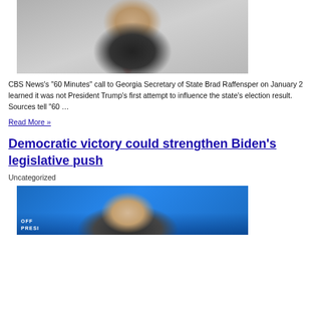[Figure (photo): Photograph of Donald Trump in a dark suit with red tie, seated, looking serious, with blurred outdoor background]
CBS News's ‘60 Minutes” call to Georgia Secretary of State Brad Raffensper on January 2 learned it was not President Trump’s first attempt to influence the state’s election result. Sources tell ‘60 …
Read More »
Democratic victory could strengthen Biden’s legislative push
Uncategorized
[Figure (photo): Photograph of Joe Biden in front of a blue background with official presidential transition signage partially visible at bottom left]